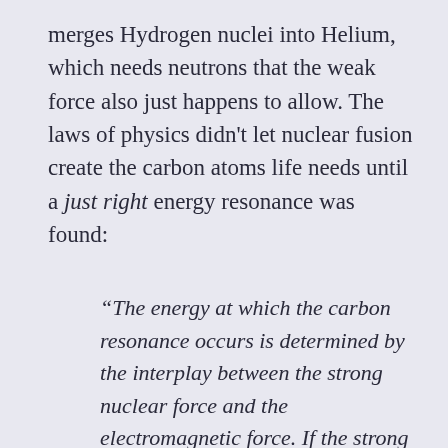merges Hydrogen nuclei into Helium, which needs neutrons that the weak force also just happens to allow. The laws of physics didn't let nuclear fusion create the carbon atoms life needs until a just right energy resonance was found:
“The energy at which the carbon resonance occurs is determined by the interplay between the strong nuclear force and the electromagnetic force. If the strong force were slightly stronger or slightly weaker … the universe might very well be devoid of life and go